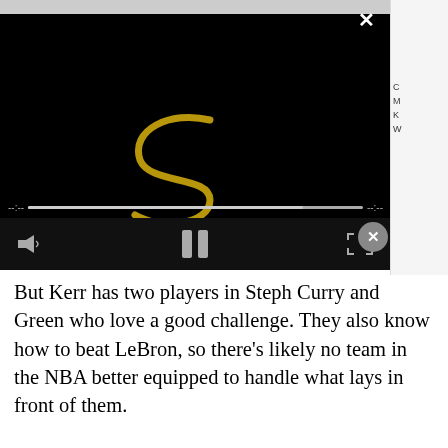[Figure (screenshot): Embedded video player with black background, a stylized golden 'S' logo in center, a progress bar near bottom, and playback controls including volume, pause, fullscreen. An X close button in top-right. Gray top banner visible above player.]
But Kerr has two players in Steph Curry and Green who love a good challenge. They also know how to beat LeBron, so there's likely no team in the NBA better equipped to handle what lays in front of them.